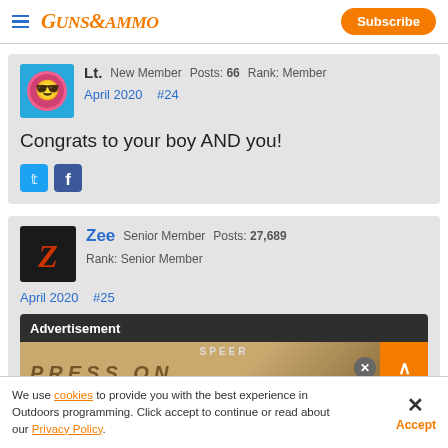GUNS&AMMO | Subscribe
Lt. New Member  Posts: 66  Rank: Member  April 2020  #24
Congrats to your boy AND you!
Zee  Senior Member  Posts: 27,689  Rank: Senior Member  April 2020  #25
[Figure (screenshot): Advertisement banner for Speer ammunition with PRESS ON text visible]
We use cookies to provide you with the best experience in Outdoors programming. Click accept to continue or read about our Privacy Policy.